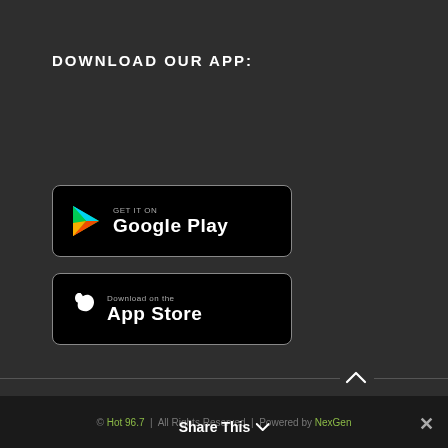DOWNLOAD OUR APP:
[Figure (illustration): Google Play Store download button — black rounded rectangle with Google Play triangle logo and text 'GET IT ON Google Play']
[Figure (illustration): Apple App Store download button — black rounded rectangle with Apple logo and text 'Download on the App Store']
[Figure (illustration): White curved arrow pointing right, decorative element in upper right area]
© Hot 96.7  |  All Rights Reserved  |  Powered by NexGen
Share This